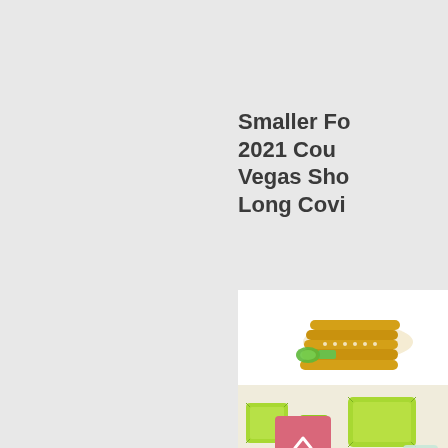Smaller Fo 2021 Cou Vegas Sho Long Covi
[Figure (photo): Jewelry photo showing gold rings with green gemstones on top half, and loose green gemstones on bottom half. A pink scroll-to-top button overlaps the bottom section.]
Las Vegas. Au the industry